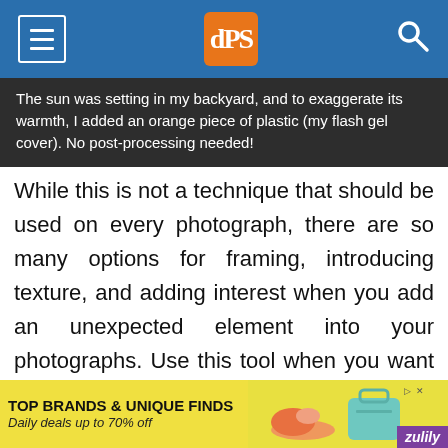dPS navigation bar with hamburger menu, dPS logo, and search icon
The sun was setting in my backyard, and to exaggerate its warmth, I added an orange piece of plastic (my flash gel cover). No post-processing needed!
While this is not a technique that should be used on every photograph, there are so many options for framing, introducing texture, and adding interest when you add an unexpected element into your photographs. Use this tool when you want to break free from the mundane and the ordinary, you might be pleasantly surprised with the results!
[Figure (infographic): Advertisement banner for Zulily: TOP BRANDS & UNIQUE FINDS, Daily deals up to 70% off, with shoe and handbag imagery]